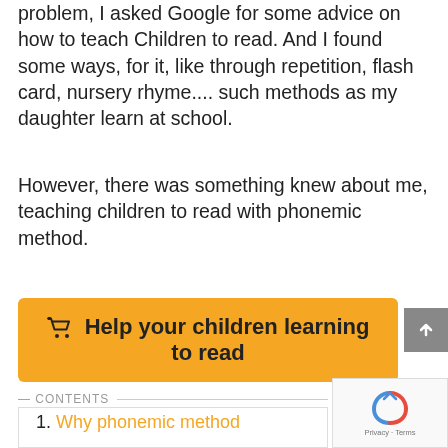problem, I asked Google for some advice on how to teach Children to read. And I found some ways, for it, like through repetition, flash card, nursery rhyme.... such methods as my daughter learn at school.
However, there was something knew about me, teaching children to read with phonemic method.
[Figure (other): Orange call-to-action button with shopping cart icon and bold text: Help your children learning to read]
CONTENTS
1. Why phonemic method